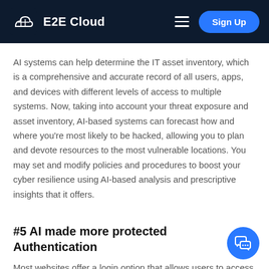E2E Cloud
AI systems can help determine the IT asset inventory, which is a comprehensive and accurate record of all users, apps, and devices with different levels of access to multiple systems. Now, taking into account your threat exposure and asset inventory, AI-based systems can forecast how and where you're most likely to be hacked, allowing you to plan and devote resources to the most vulnerable locations. You may set and modify policies and procedures to boost your cyber resilience using AI-based analysis and prescriptive insights that it offers.
#5 AI made more protected Authentication
Most websites offer a login option that allows users to access